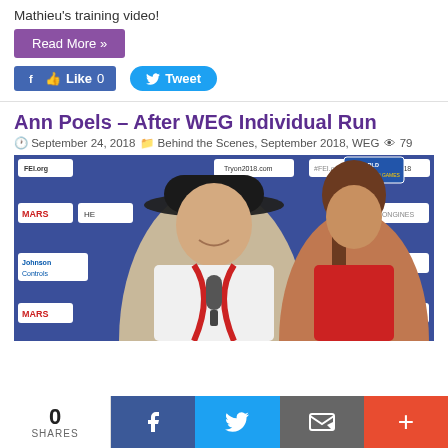Mathieu's training video!
Read More »
Like 0
Tweet
Ann Poels – After WEG Individual Run
September 24, 2018  Behind the Scenes, September 2018, WEG  79
[Figure (photo): Ann Poels wearing a black cowboy hat and decorated outfit being interviewed in front of FEI World Equestrian Games sponsor backdrop at Tryon 2018. Sponsors visible include MARS, FEI, Johnson Controls, Longines.]
0 SHARES  [Facebook] [Twitter] [Email] [More]